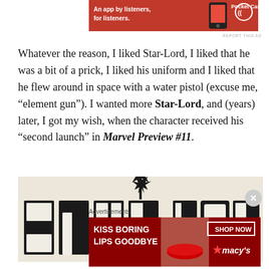[Figure (screenshot): Red advertisement banner for Pocket Casts app, showing text 'An app by listeners, for listeners.' with Pocket Casts logo]
REPORT THIS AD
Whatever the reason, I liked Star-Lord, I liked that he was a bit of a prick, I liked his uniform and I liked that he flew around in space with a water pistol (excuse me, “element gun”). I wanted more Star-Lord, and (years) later, I got my wish, when the character received his “second launch” in Marvel Preview #11.
[Figure (illustration): Black and white comic book logo illustration of STAR-LORD in large bold 3D block letters with a figure holding a gun above the text, on a textured star-pattern background]
Advertisements
[Figure (screenshot): Advertisement for Macy's lipstick: 'KISS BORING LIPS GOODBYE' with SHOP NOW button and macy's star logo, showing a woman's face with red lips]